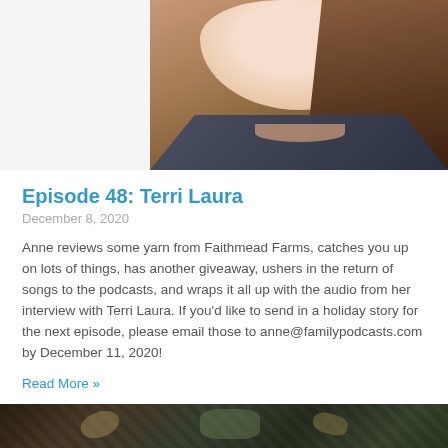[Figure (photo): Cropped photo of a young woman with long brown hair and a smile, wearing a patterned shirt, shown from approximately shoulders up]
Episode 48: Terri Laura
December 8, 2020
Anne reviews some yarn from Faithmead Farms, catches you up on lots of things, has another giveaway, ushers in the return of songs to the podcasts, and wraps it all up with the audio from her interview with Terri Laura. If you'd like to send in a holiday story for the next episode, please email those to anne@familypodcasts.com by December 11, 2020!
Read More »
[Figure (photo): Partial bottom image, appears to be outdoor/nature scene, very cropped at bottom of page]